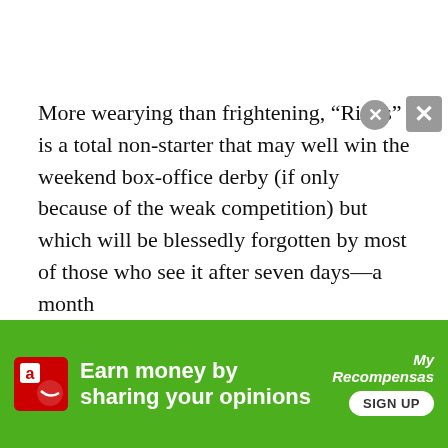More wearying than frightening, “Rings” is a total non-starter that may well win the weekend box-office derby (if only because of the weak competition) but which will be blessedly forgotten by most of those who see it after seven days—a month
[Figure (other): Green advertisement banner for MyRecompensas/Amazon: 'Earn money by sharing your opinions' with a Sign Up button, Amazon icon, and two close/dismiss buttons overlaid.]